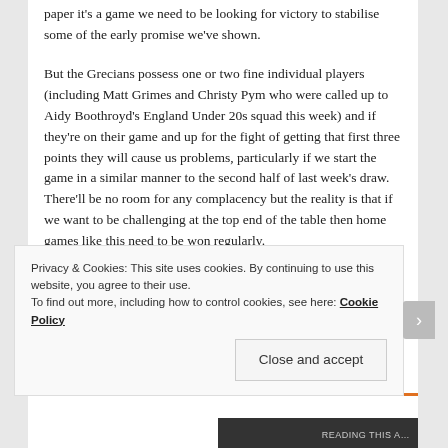paper it's a game we need to be looking for victory to stabilise some of the early promise we've shown.
But the Grecians possess one or two fine individual players (including Matt Grimes and Christy Pym who were called up to Aidy Boothroyd's England Under 20s squad this week) and if they're on their game and up for the fight of getting that first three points they will cause us problems, particularly if we start the game in a similar manner to the second half of last week's draw. There'll be no room for any complacency but the reality is that if we want to be challenging at the top end of the table then home games like this need to be won regularly.
The intriguing news on the team front this week has been
Privacy & Cookies: This site uses cookies. By continuing to use this website, you agree to their use.
To find out more, including how to control cookies, see here: Cookie Policy